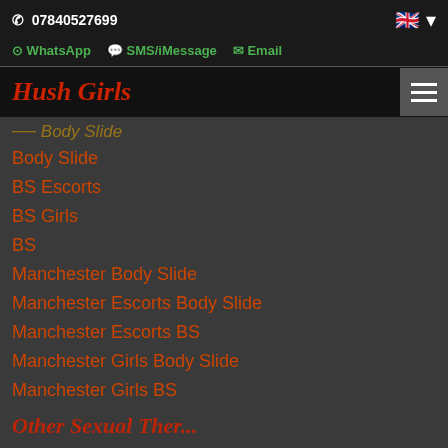07840527699
WhatsApp   SMS/iMessage   Email
Hush Girls
Body Slide
BS Escorts
BS Girls
BS
Manchester Body Slide
Manchester Escorts Body Slide
Manchester Escorts BS
Manchester Girls Body Slide
Manchester Girls BS